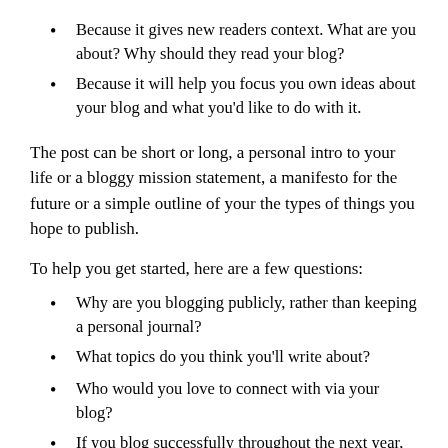Because it gives new readers context. What are you about? Why should they read your blog?
Because it will help you focus you own ideas about your blog and what you'd like to do with it.
The post can be short or long, a personal intro to your life or a bloggy mission statement, a manifesto for the future or a simple outline of your the types of things you hope to publish.
To help you get started, here are a few questions:
Why are you blogging publicly, rather than keeping a personal journal?
What topics do you think you'll write about?
Who would you love to connect with via your blog?
If you blog successfully throughout the next year, what would